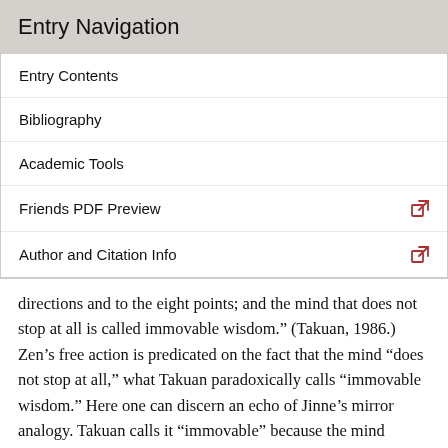Entry Navigation
Entry Contents
Bibliography
Academic Tools
Friends PDF Preview
Author and Citation Info
directions and to the eight points; and the mind that does not stop at all is called immovable wisdom.” (Takuan, 1986.) Zen’s free action is predicated on the fact that the mind “does not stop at all,” what Takuan paradoxically calls “immovable wisdom.” Here one can discern an echo of Jinne’s mirror analogy. Takuan calls it “immovable” because the mind remains absolutely still (i.e., not two) in the midst of action, like the stationary shaft of a top. Such a mind does not fluctuate in its center, in the deep region of psyche. In this state, because the mind moves in such a way that it does not dwell on anything, there is no